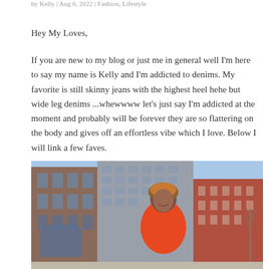by Kelly | Aug 6, 2022 | Fashion, Lifestyle
Hey My Loves,
If you are new to my blog or just me in general well I’m here to say my name is Kelly and I’m addicted to denims. My favorite is still skinny jeans with the highest heel hehe but wide leg denims ...whewwww let’s just say I’m addicted at the moment and probably will be forever they are so flattering on the body and gives off an effortless vibe which I love. Below I will link a few faves.
[Figure (photo): A woman wearing an orange turtleneck sweater and a colorful head wrap standing in front of urban city buildings with a blue sky backdrop.]